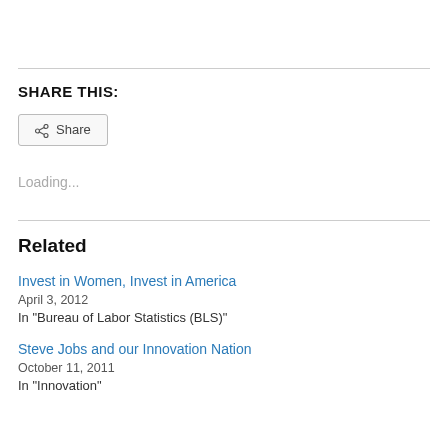SHARE THIS:
[Figure (other): Share button with share icon]
Loading...
Related
Invest in Women, Invest in America
April 3, 2012
In "Bureau of Labor Statistics (BLS)"
Steve Jobs and our Innovation Nation
October 11, 2011
In "Innovation"